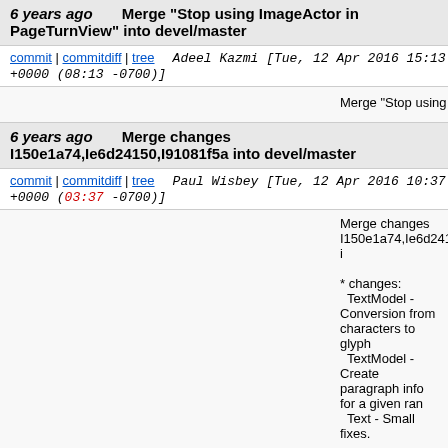6 years ago  Merge "Stop using ImageActor in PageTurnView" into devel/master
commit | commitdiff | tree   Adeel Kazmi [Tue, 12 Apr 2016 15:13:39 +0000 (08:13 -0700)]
Merge "Stop using ImageActor in PageTurnView"
6 years ago  Merge changes I150e1a74,Ie6d24150,I91081f5a into devel/master
commit | commitdiff | tree   Paul Wisbey [Tue, 12 Apr 2016 10:37:41 +0000 (03:37 -0700)]
Merge changes I150e1a74,Ie6d24150,I91081f5a i

* changes:
  TextModel - Conversion from characters to glyph
  TextModel - Create paragraph info for a given ran
  Text - Small fixes.
6 years ago  Remove Unnecessary OnButton methods in the button implementations  76/65576/1
commit | commitdiff | tree   Adeel Kazmi [Mon, 11 Apr 2016 11:23:29 +0000 (12:23 +0100)]
Remove Unnecessary OnButton methods in the b

Change-